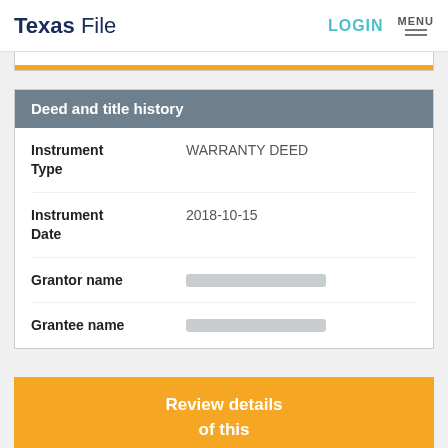Texas File | LOGIN | MENU
Deed and title history
| Field | Value |
| --- | --- |
| Instrument Type | WARRANTY DEED |
| Instrument Date | 2018-10-15 |
| Grantor name | [redacted] |
| Grantee name | [redacted] |
Review details of this document and